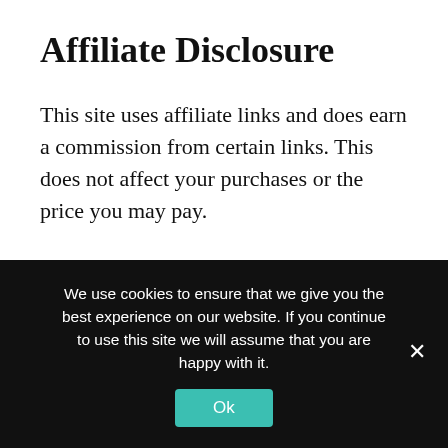Affiliate Disclosure
This site uses affiliate links and does earn a commission from certain links. This does not affect your purchases or the price you may pay.
Cookies
To enrich and perfect your online experience,
We use cookies to ensure that we give you the best experience on our website. If you continue to use this site we will assume that you are happy with it.